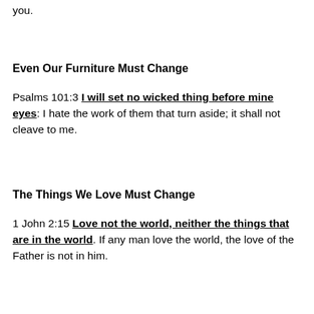you.
Even Our Furniture Must Change
Psalms 101:3 I will set no wicked thing before mine eyes: I hate the work of them that turn aside; it shall not cleave to me.
The Things We Love Must Change
1 John 2:15 Love not the world, neither the things that are in the world. If any man love the world, the love of the Father is not in him.